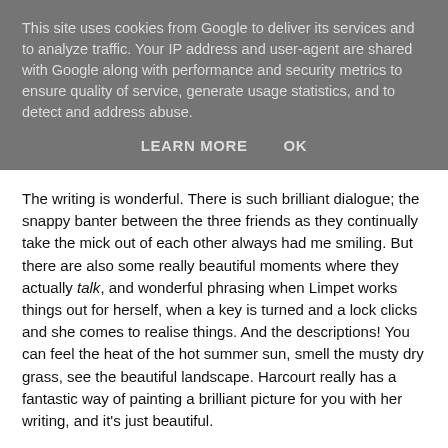This site uses cookies from Google to deliver its services and to analyze traffic. Your IP address and user-agent are shared with Google along with performance and security metrics to ensure quality of service, generate usage statistics, and to detect and address abuse.
LEARN MORE   OK
The writing is wonderful. There is such brilliant dialogue; the snappy banter between the three friends as they continually take the mick out of each other always had me smiling. But there are also some really beautiful moments where they actually talk, and wonderful phrasing when Limpet works things out for herself, when a key is turned and a lock clicks and she comes to realise things. And the descriptions! You can feel the heat of the hot summer sun, smell the musty dry grass, see the beautiful landscape. Harcourt really has a fantastic way of painting a brilliant picture for you with her writing, and it's just beautiful.
I had a personal reaction to this book, too. As I write this in